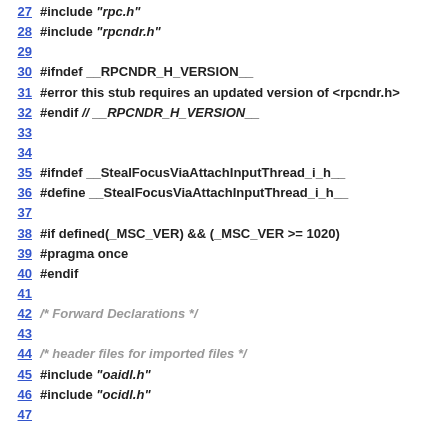27  #include "rpc.h"
28  #include "rpcndr.h"
29
30  #ifndef __RPCNDR_H_VERSION__
31  #error this stub requires an updated version of <rpcndr.h>
32  #endif // __RPCNDR_H_VERSION__
33
34
35  #ifndef __StealFocusViaAttachInputThread_i_h__
36  #define __StealFocusViaAttachInputThread_i_h__
37
38  #if defined(_MSC_VER) && (_MSC_VER >= 1020)
39  #pragma once
40  #endif
41
42  /* Forward Declarations */
43
44  /* header files for imported files */
45  #include "oaidl.h"
46  #include "ocidl.h"
47